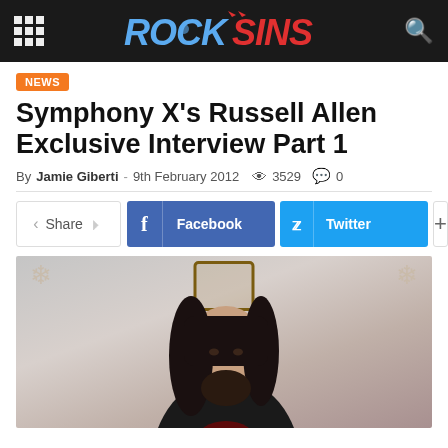ROCK SINS
NEWS
Symphony X's Russell Allen Exclusive Interview Part 1
By Jamie Giberti - 9th February 2012  👁 3529  💬 0
Share  Facebook  Twitter  +
[Figure (photo): Photo of Russell Allen, vocalist of Symphony X, with long dark hair and beard, wearing a black t-shirt with red graphic, seated against a light grey background with decorative mirror/chandelier elements visible behind him.]